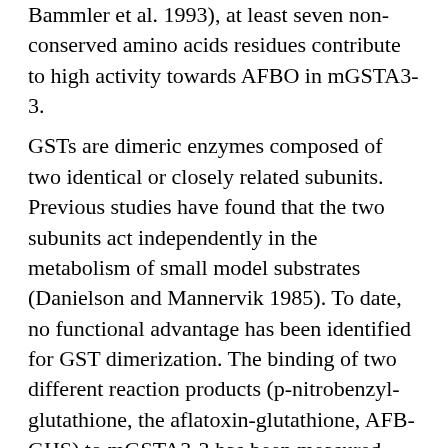Bammler et al. 1993), at least seven non-conserved amino acids residues contribute to high activity towards AFBO in mGSTA3-3.
GSTs are dimeric enzymes composed of two identical or closely related subunits. Previous studies have found that the two subunits act independently in the metabolism of small model substrates (Danielson and Mannervik 1985). To date, no functional advantage has been identified for GST dimerization. The binding of two different reaction products (p-nitrobenzyl-glutathione, the aflatoxin-glutathione, AFB-GHS) to mGSTA3-3 has been measured using equilibrium dialysis. As expected, p-nitrobenzyl-glutathione was found to bind with a stoichiometry of 2.24+0.17 mole per mole of dimer, consistent with two independent and equivalent binding sites per dimer.